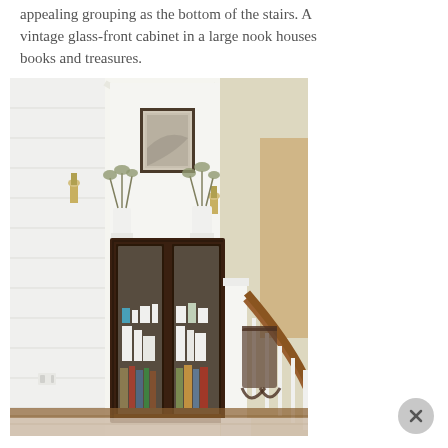appealing grouping as the bottom of the stairs. A vintage glass-front cabinet in a large nook houses books and treasures.
[Figure (photo): Interior photo of a home showing a dark wood vintage glass-front cabinet in a large nook. The cabinet has glass doors and contains books and decorative items. White vases with plants sit on top along with a framed artwork. A staircase railing with wooden banister is visible in the foreground right, and a rocking chair is in the background. The walls are white shiplap with wall sconces.]